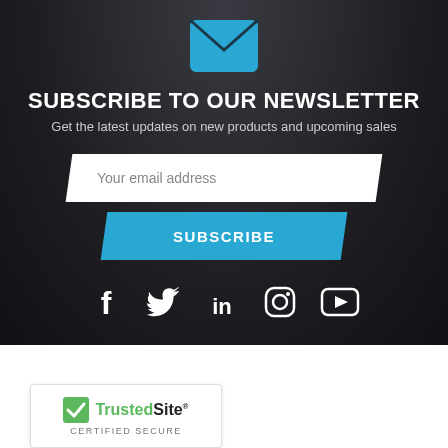[Figure (illustration): Blue envelope icon on dark background]
SUBSCRIBE TO OUR NEWSLETTER
Get the latest updates on new products and upcoming sales
Your email address
SUBSCRIBE
[Figure (illustration): Social media icons: Facebook, Twitter, LinkedIn, Instagram, YouTube]
CATEGORIES
[Figure (logo): TrustedSite CERTIFIED SECURE badge]